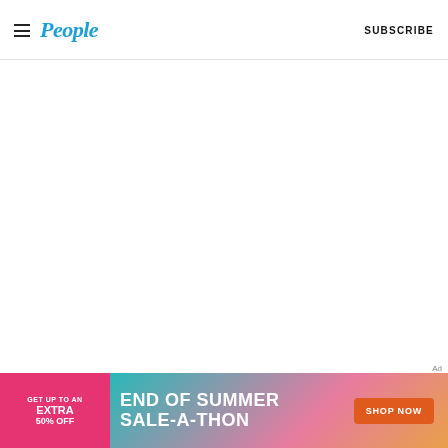People | SUBSCRIBE
[Figure (other): Advertisement label text 'Ad']
[Figure (other): End of Summer Sale-a-Thon advertisement banner with pink left section reading 'GET UP TO AN EXTRA 50% OFF' and teal/pink gradient right section reading 'END OF SUMMER SALE-A-THON' with orange 'SHOP NOW' button]